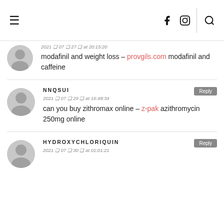≡  f  📷  🔍
2021 ◻ 07 ◻ 27 ◻ at 20:15:20
modafinil and weight loss – provgils.com modafinil and caffeine
NNQSUI
2021 ◻ 07 ◻ 29 ◻ at 16:48:34
can you buy zithromax online – z-pak azithromycin 250mg online
HYDROXYCHLORIQUIN
2021 ◻ 07 ◻ 30 ◻ at 01:01:21